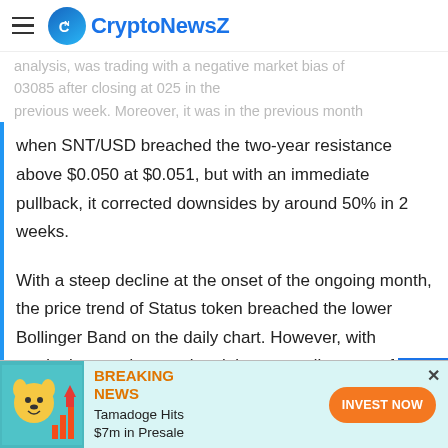CryptoNewsZ
analysis, was trading with a negative market bias of 03085 after closing at 025 in the previous week. Moreover, it was in the previous month
when SNT/USD breached the two-year resistance above $0.050 at $0.051, but with an immediate pullback, it corrected downsides by around 50% in 2 weeks.
With a steep decline at the onset of the ongoing month, the price trend of Status token breached the lower Bollinger Band on the daily chart. However, with gradual upward correction, it is now trading away from the bottom extremity.
[Figure (infographic): Advertisement banner: Tamadoge Hits $7m in Presale - INVEST NOW button with orange dog mascot and bar chart graphic]